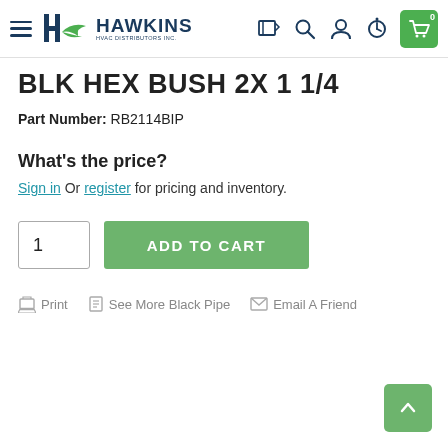[Figure (screenshot): Hawkins HVAC Distributors Inc. navigation bar with hamburger menu, logo, and icons for catalog, search, account, clock/history, and cart (0 items)]
BLK HEX BUSH 2X 1 1/4
Part Number: RB2114BIP
What's the price?
Sign in Or register for pricing and inventory.
1  ADD TO CART
Print  See More Black Pipe  Email A Friend